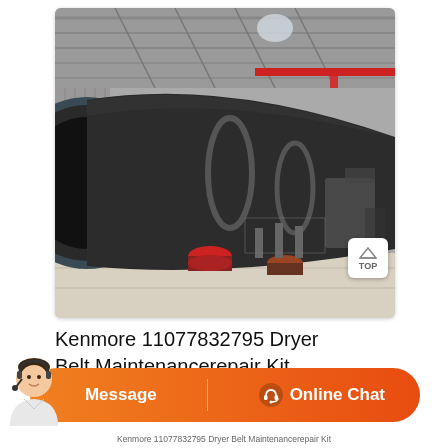[Figure (photo): Industrial rotary dryer drum — large black cylindrical drum inside a factory/warehouse with concrete floor and steel truss roof, red overhead crane visible in background]
Kenmore 11077832795 Dryer Belt Maintenancerepair Kit
[Figure (infographic): Orange chat bar with agent photo on left, Message button in center, and Online Chat button with headset icon on right]
Kenmore 11077832795 Dryer Belt Maintenancerepair Kit